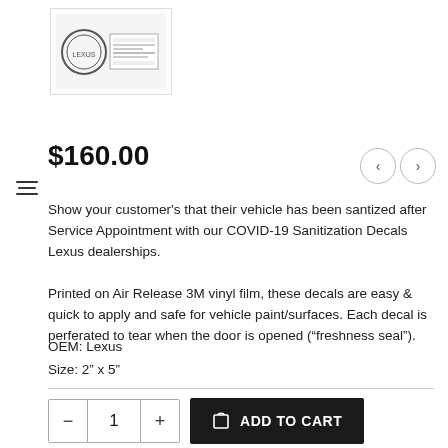[Figure (photo): Product thumbnail showing a Lexus COVID-19 Sanitization Decal with a seal/stamp graphic and barcode label]
$160.00
Show your customer's that their vehicle has been santized after Service Appointment with our COVID-19 Sanitization Decals Lexus dealerships.
Printed on Air Release 3M vinyl film, these decals are easy & quick to apply and safe for vehicle paint/surfaces. Each decal is perferated to tear when the door is opened (“freshness seal”).
OEM: Lexus
Size: 2” x 5”